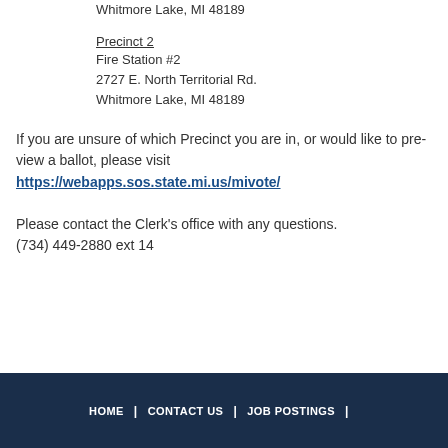Whitmore Lake, MI 48189
Precinct 2
Fire Station #2
2727 E. North Territorial Rd.
Whitmore Lake, MI 48189
If you are unsure of which Precinct you are in, or would like to pre-view a ballot, please visit https://webapps.sos.state.mi.us/mivote/
Please contact the Clerk’s office with any questions. (734) 449-2880 ext 14
HOME | CONTACT US | JOB POSTINGS |